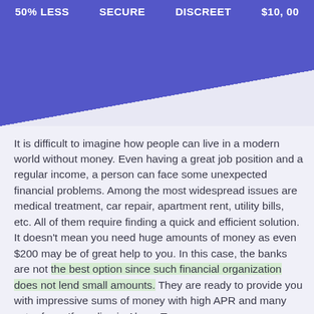50% LESS   SECURE   DISCREET   $10,00
It is difficult to imagine how people can live in a modern world without money. Even having a great job position and a regular income, a person can face some unexpected financial problems. Among the most widespread issues are medical treatment, car repair, apartment rent, utility bills, etc. All of them require finding a quick and efficient solution. It doesn't mean you need huge amounts of money as even $200 may be of great help to you. In this case, the banks are not the best option since such financial organization does not lend small amounts. They are ready to provide you with impressive sums of money with high APR and many extra fees. If you live in Alcoa, Tennessee,